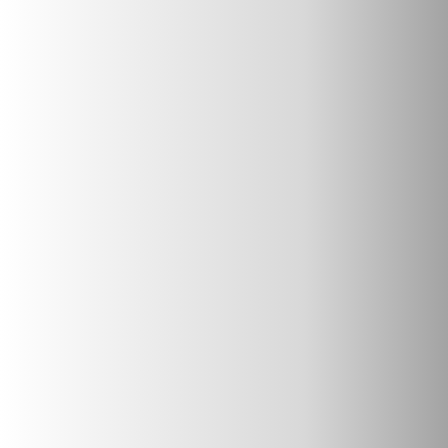Works
- Fujimi Fantasia Bu...
- Gargantia
- Girl Friend Beta
- Goblin Slayer
- Godzilla
- Guilty Crown
- Gurren Lagann
- Haruhi
- Hatsune Miku Proj (Vocaloid)
- Hololive Productio Gen
- Hololive Productio Gen
- Hololive Productio Gen
- Hololive Productio Gen
- Hololive Productio Gen
- Hololive Productio Gen
- Hololive Productio Gamers
- Idolm@ster 2
- Idolm@ster Anime
- Idolm@ster Cinde